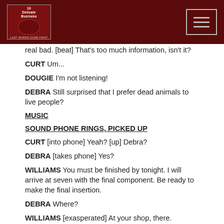[logo and navigation header]
real bad.  [beat] That's too much information, isn't it?
CURT    Um...
DOUGIE    I'm not listening!
DEBRA    Still surprised that I prefer dead animals to live people?
MUSIC
SOUND    PHONE RINGS, PICKED UP
CURT    [into phone]  Yeah?  [up] Debra?
DEBRA    [takes phone] Yes?
WILLIAMS    You must be finished by tonight.  I will arrive at seven with the final component.  Be ready to make the final insertion.
DEBRA    Where?
WILLIAMS    [exasperated]  At your shop, there.